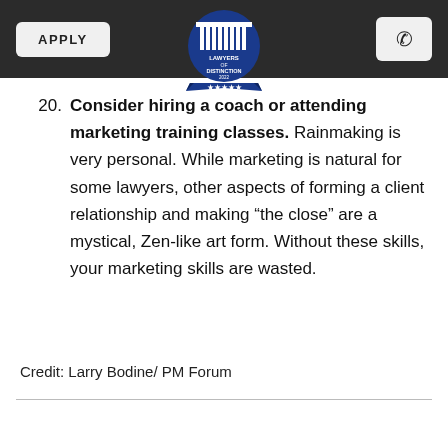APPLY | [Lawyers of Distinction logo] | [phone icon]
20. Consider hiring a coach or attending marketing training classes. Rainmaking is very personal. While marketing is natural for some lawyers, other aspects of forming a client relationship and making “the close” are a mystical, Zen-like art form. Without these skills, your marketing skills are wasted.
Credit: Larry Bodine/ PM Forum